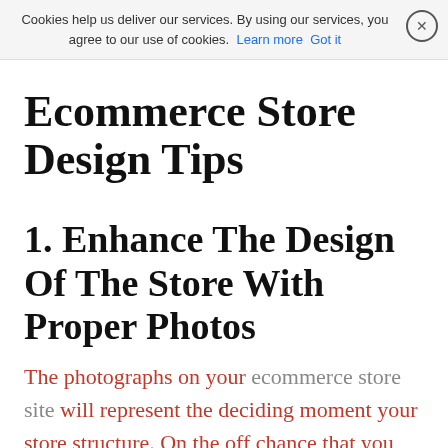Cookies help us deliver our services. By using our services, you agree to our use of cookies. Learn more  Got it
Ecommerce Store Design Tips
1. Enhance The Design Of The Store With Proper Photos
The photographs on your ecommerce store site will represent the deciding moment your store structure. On the off chance that you pick the wrong photographs, it might defect your changes. Truly Little Thing has enamoring